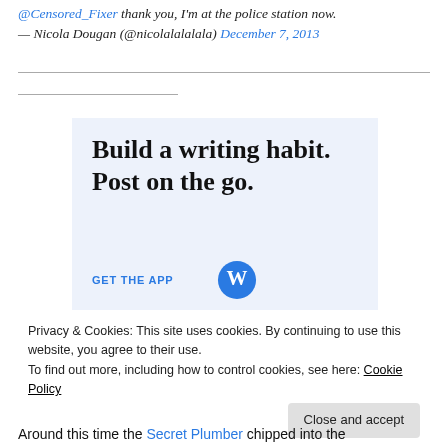@Censored_Fixer thank you, I'm at the police station now. — Nicola Dougan (@nicolalalalala) December 7, 2013
[Figure (screenshot): WordPress advertisement banner with text 'Build a writing habit. Post on the go.' and a 'GET THE APP' link with WordPress logo]
Privacy & Cookies: This site uses cookies. By continuing to use this website, you agree to their use. To find out more, including how to control cookies, see here: Cookie Policy. Close and accept.
Around this time the Secret Plumber chipped into the